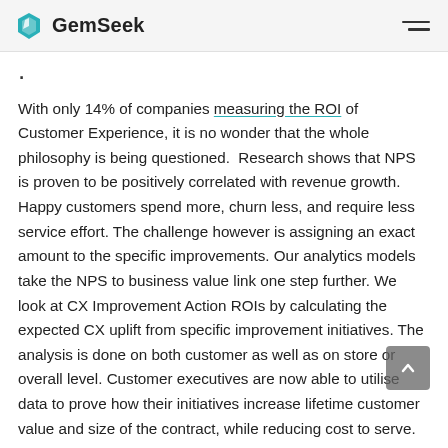GemSeek
With only 14% of companies measuring the ROI of Customer Experience, it is no wonder that the whole philosophy is being questioned.  Research shows that NPS is proven to be positively correlated with revenue growth. Happy customers spend more, churn less, and require less service effort. The challenge however is assigning an exact amount to the specific improvements. Our analytics models take the NPS to business value link one step further. We look at CX Improvement Action ROIs by calculating the expected CX uplift from specific improvement initiatives. The analysis is done on both customer as well as on store or overall level. Customer executives are now able to utilise data to prove how their initiatives increase lifetime customer value and size of the contract, while reducing cost to serve.